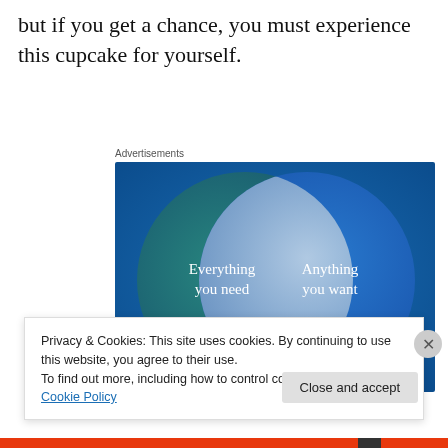but if you get a chance, you must experience this cupcake for yourself.
Advertisements
[Figure (infographic): Venn diagram with two overlapping circles on a blue/teal gradient background. Left circle (teal/green) labeled 'Everything you need', right circle (blue) labeled 'Anything you want', overlapping region is a lighter blue-grey.]
Privacy & Cookies: This site uses cookies. By continuing to use this website, you agree to their use.
To find out more, including how to control cookies, see here: Cookie Policy
Close and accept